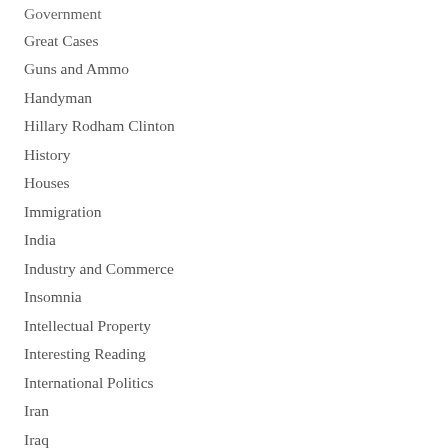Government
Great Cases
Guns and Ammo
Handyman
Hillary Rodham Clinton
History
Houses
Immigration
India
Industry and Commerce
Insomnia
Intellectual Property
Interesting Reading
International Politics
Iran
Iraq